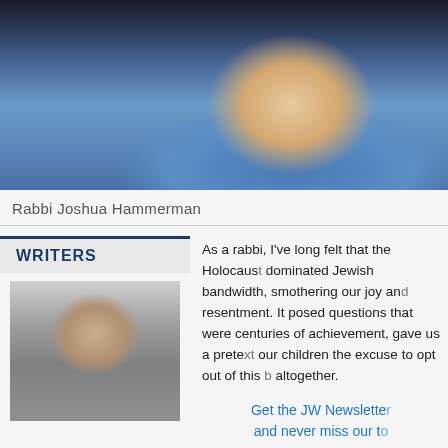[Figure (photo): Close-up photo of a smiling middle-aged man with gray facial stubble wearing a blue shirt, set against a dark background]
Rabbi Joshua Hammerman
WRITERS
[Figure (photo): Black and white portrait photo of a middle-aged man with light hair in front of bookshelves]
As a rabbi, I've long felt that the Holocaust has dominated Jewish bandwidth, smothering our joy and generating resentment. It posed questions that were unanswerable, centuries of achievement, gave us a pretext and our children the excuse to opt out of this b... altogether.
Get the JW Newsletter and never miss our to
FREE SIGN